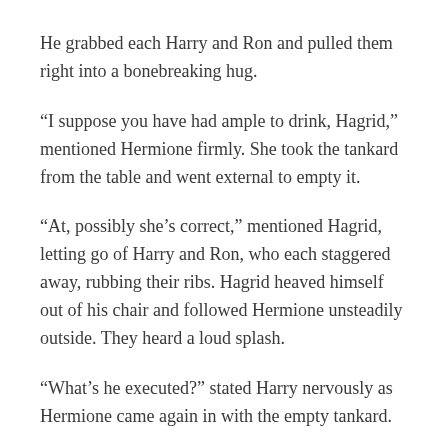He grabbed each Harry and Ron and pulled them right into a bonebreaking hug.
“I suppose you have had ample to drink, Hagrid,” mentioned Hermione firmly. She took the tankard from the table and went external to empty it.
“At, possibly she’s correct,” mentioned Hagrid, letting go of Harry and Ron, who each staggered away, rubbing their ribs. Hagrid heaved himself out of his chair and followed Hermione unsteadily outside. They heard a loud splash.
“What’s he executed?” stated Harry nervously as Hermione came again in with the empty tankard.
“stuck his head within the water barrel,” stated Hermione, striking the tankard away.